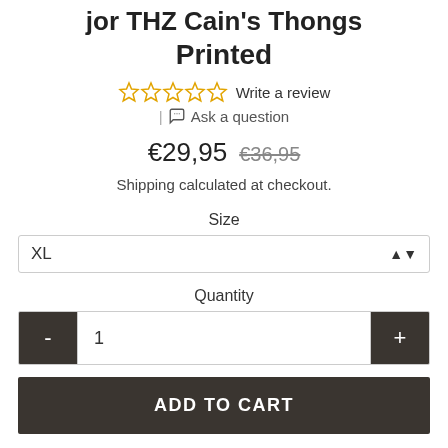Printed
☆ ☆ ☆ ☆ ☆ Write a review
| 💬 Ask a question
€29,95  €36,95
Shipping calculated at checkout.
Size
XL
Quantity
- 1 +
ADD TO CART